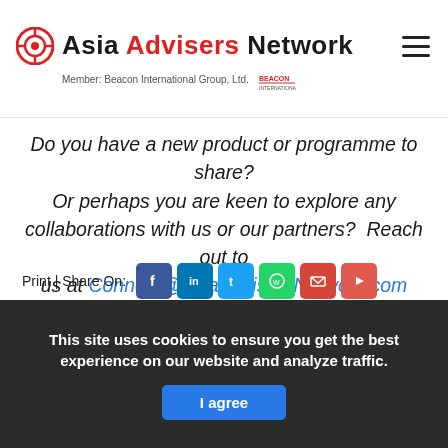Asia Advisers Network — Member: Beacon International Group, Ltd.
Do you have a new product or programme to share? Or perhaps you are keen to explore any collaborations with us or our partners? Reach out to us at Connect@AsiaAdvisersNetwork.com
Print | Share On:
This site uses cookies to ensure you get the best experience on our website and analyze traffic. I agree